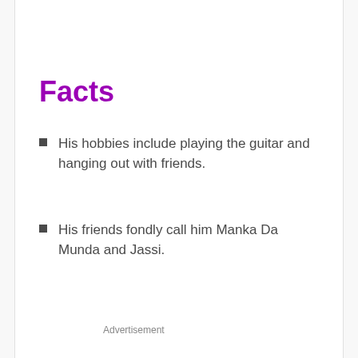Facts
His hobbies include playing the guitar and hanging out with friends.
His friends fondly call him Manka Da Munda and Jassi.
Advertisement